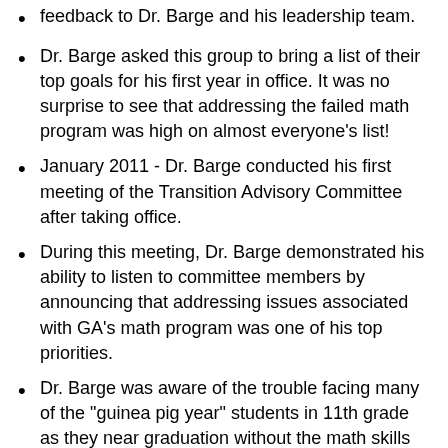feedback to Dr. Barge and his leadership team.
Dr. Barge asked this group to bring a list of their top goals for his first year in office. It was no surprise to see that addressing the failed math program was high on almost everyone's list!
January 2011 - Dr. Barge conducted his first meeting of the Transition Advisory Committee after taking office.
During this meeting, Dr. Barge demonstrated his ability to listen to committee members by announcing that addressing issues associated with GA's math program was one of his top priorities.
Dr. Barge was aware of the trouble facing many of the "guinea pig year" students in 11th grade as they near graduation without the math skills necessary to successfully graduate.
Dr. Barge energized his staff, many appear to be new and motivated, to "act with urgency" to